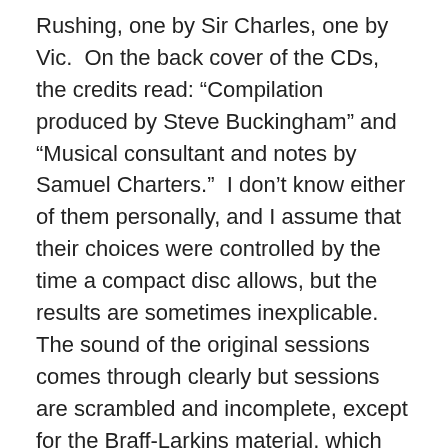Rushing, one by Sir Charles, one by Vic.  On the back cover of the CDs, the credits read: “Compilation produced by Steve Buckingham” and “Musical consultant and notes by Samuel Charters.”  I don’t know either of them personally, and I assume that their choices were controlled by the time a compact disc allows, but the results are sometimes inexplicable.  The sound of the original sessions comes through clearly but sessions are scrambled and incomplete, except for the Braff-Larkins material, which they properly saw as untouchable.  And rightly so.  The Vanguard recordings are glorious.  And they deserve better presentation than they've received.
P.S.  Researching this post, I went to the usual sources — Amazon and eBay — and there’s no balm for the weary or the deprived.  On eBay, a vinyl BUCK MEETS RUBY is selling for five times as much.  That may be my twenty-